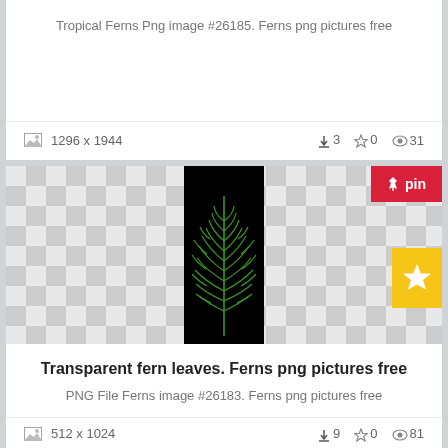Tropical Ferns Png image #26185. Ferns png pictures free
1296 x 1944  ↓3  ☆0  👁31
[Figure (illustration): Fern leaf on black background with checkerboard transparency pattern]
Transparent fern leaves. Ferns png pictures free
PNG File Ferns image #26183. Ferns png pictures free
512 x 1024  ↓9  ☆0  👁81
[Figure (illustration): Partial fern leaves on black background with checkerboard transparency pattern, with pin button]